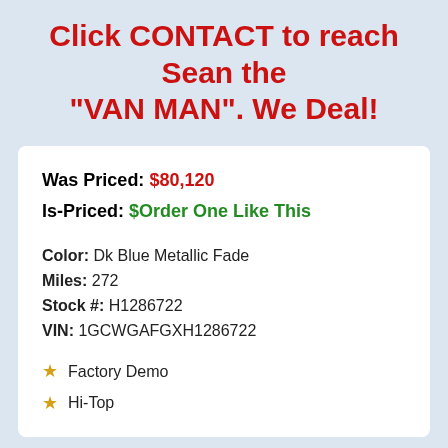Click CONTACT to reach Sean the "VAN MAN". We Deal!
Was Priced: $80,120
Is-Priced: $Order One Like This
Color: Dk Blue Metallic Fade
Miles: 272
Stock #: H1286722
VIN: 1GCWGAFGXH1286722
Factory Demo
Hi-Top